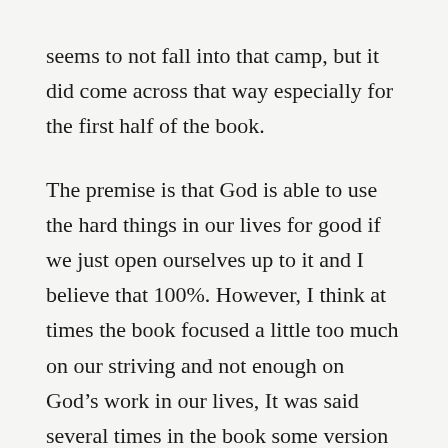seems to not fall into that camp, but it did come across that way especially for the first half of the book.
The premise is that God is able to use the hard things in our lives for good if we just open ourselves up to it and I believe that 100%. However, I think at times the book focused a little too much on our striving and not enough on God’s work in our lives, It was said several times in the book some version of “you can’t be used by God to your full potential if you don’t do XYZ” or “you won’t live your most joyful life if you don’t do